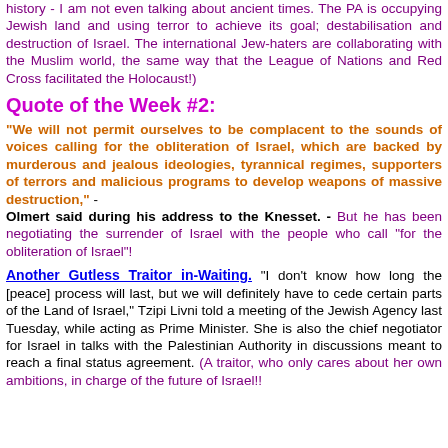history - I am not even talking about ancient times. The PA is occupying Jewish land and using terror to achieve its goal; destabilisation and destruction of Israel. The international Jew-haters are collaborating with the Muslim world, the same way that the League of Nations and Red Cross facilitated the Holocaust!)
Quote of the Week #2:
"We will not permit ourselves to be complacent to the sounds of voices calling for the obliteration of Israel, which are backed by murderous and jealous ideologies, tyrannical regimes, supporters of terrors and malicious programs to develop weapons of massive destruction," - Olmert said during his address to the Knesset. - But he has been negotiating the surrender of Israel with the people who call "for the obliteration of Israel"!
Another Gutless Traitor in-Waiting. "I don't know how long the [peace] process will last, but we will definitely have to cede certain parts of the Land of Israel," Tzipi Livni told a meeting of the Jewish Agency last Tuesday, while acting as Prime Minister. She is also the chief negotiator for Israel in talks with the Palestinian Authority in discussions meant to reach a final status agreement. (A traitor, who only cares about her own ambitions, in charge of the future of Israel!!